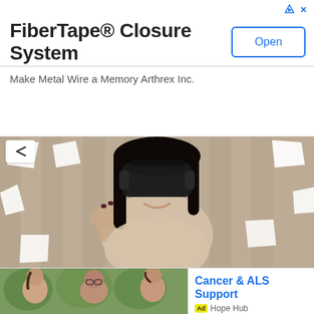FiberTape® Closure System
Make Metal Wire a Memory Arthrex Inc.
[Figure (photo): Woman wearing a VR headset with floating white geometric shapes around her in front of a wooden wall background]
VR Slide China Manufacturer - Magic Traveling 9D Experience
Ad  owatchvrpark.com
[Figure (photo): Group of people posing together outdoors with greenery in background]
Cancer & ALS Support
Ad  Hope Hub